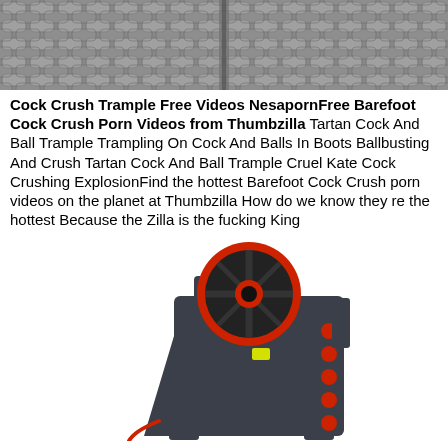[Figure (photo): Close-up photo of grey ribbed/tread texture surface, resembling tire tread or industrial matting]
Cock Crush Trample Free Videos NesapornFree Barefoot Cock Crush Porn Videos from Thumbzilla Tartan Cock And Ball Trample Trampling On Cock And Balls In Boots Ballbusting And Crush Tartan Cock And Ball Trample Cruel Kate Cock Crushing ExplosionFind the hottest Barefoot Cock Crush porn videos on the planet at Thumbzilla How do we know they re the hottest Because the Zilla is the fucking King
[Figure (photo): Industrial jaw crusher machine in dark grey/charcoal color with large red flywheel/pulley at top and red circular buttons/ports on the side panel]